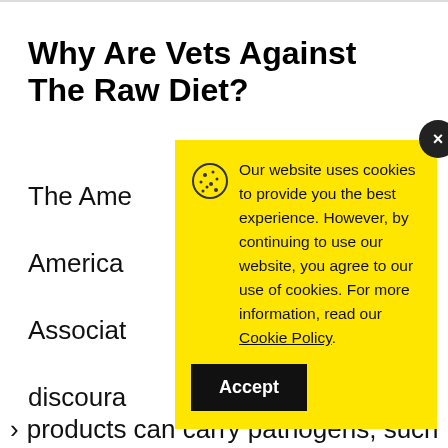Why Are Vets Against The Raw Diet?
The Ame
America
Associat
discoura
dogs raw
eggs, an
products can carry pathogens, such
[Figure (screenshot): Cookie consent popup with yellow background. Contains cookie icon, message: 'Our website uses cookies to provide you the best experience. However, by continuing to use our website, you agree to our use of cookies. For more information, read our Cookie Policy.' with Accept button. Close button (x) in top-right corner.]